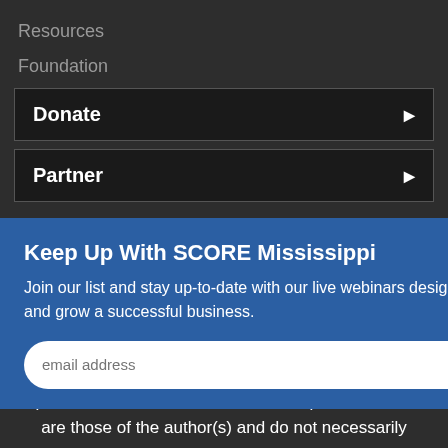Resources
Foundation
Donate
Partner
Keep Up With SCORE Mississippi
Join our list and stay up-to-date with our live webinars designed to help you start and grow a successful business.
email address
SUBMIT
Funded, in part, through a Cooperative Agreement with the U.S. Small Business Administration. All opinions, and/or recommendations expressed herein are those of the author(s) and do not necessarily